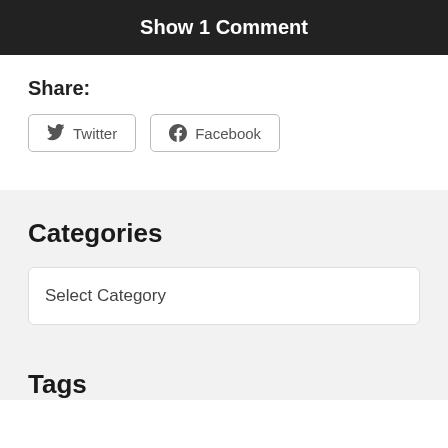Show 1 Comment
Share:
Twitter
Facebook
Categories
Select Category
Tags